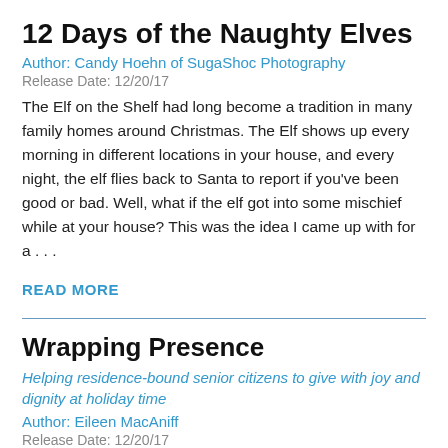12 Days of the Naughty Elves
Author: Candy Hoehn of SugaShoc Photography
Release Date: 12/20/17
The Elf on the Shelf had long become a tradition in many family homes around Christmas. The Elf shows up every morning in different locations in your house, and every night, the elf flies back to Santa to report if you've been good or bad. Well, what if the elf got into some mischief while at your house? This was the idea I came up with for a . . .
READ MORE
Wrapping Presence
Helping residence-bound senior citizens to give with joy and dignity at holiday time
Author: Eileen MacAniff
Release Date: 12/20/17
Thanks to an organization known as Wrapping Presence®, gift shops come to life once a year in over 20 nursing homes and Veterans Affairs facilities throughout the area. A dedicated core